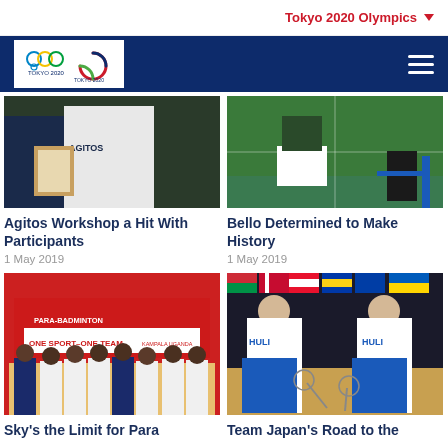Tokyo 2020 Olympics
[Figure (photo): Person in AGITOS t-shirt holding clipboard at a sports event]
[Figure (photo): Badminton player on green court with official seated nearby]
Agitos Workshop a Hit With Participants
1 May 2019
Bello Determined to Make History
1 May 2019
[Figure (photo): Para-Badminton Technical Workshop - One Sport One Team banner in Kampala Uganda with group photo]
[Figure (photo): Two female badminton players in HULIE jerseys smiling on court with international flags in background]
Sky's the Limit for Para
Team Japan's Road to the